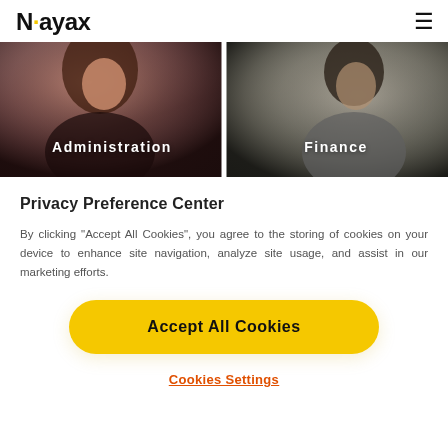Nayax
[Figure (photo): Two side-by-side photos: left shows a woman in front of a laptop (labeled Administration), right shows a man at a desk (labeled Finance)]
Privacy Preference Center
By clicking “Accept All Cookies”, you agree to the storing of cookies on your device to enhance site navigation, analyze site usage, and assist in our marketing efforts.
Accept All Cookies
Cookies Settings